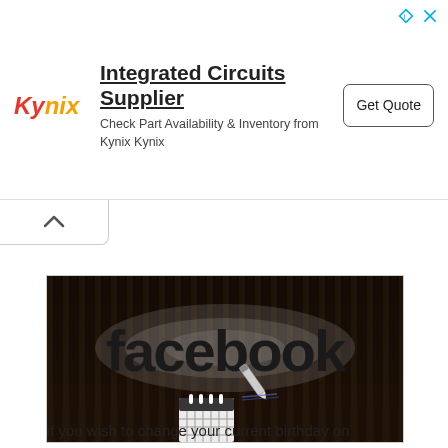[Figure (logo): Kynix advertisement banner with logo, 'Integrated Circuits Supplier' headline, subtext 'Check Part Availability & Inventory from Kynix Kynix', and 'Get Quote' button]
[Figure (photo): Facebook logo illuminated sign on a dark wooden slat background, with a calendar and pencil icon overlay in the lower center]
If you wish to change your current birthday on